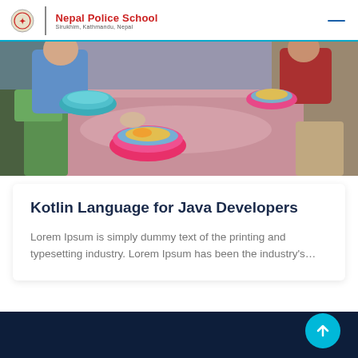Nepal Police School — Sirukhim, Kathmandu, Nepal
[Figure (photo): Children sitting at a pink table with colorful bowls containing food, in a school cafeteria setting.]
Kotlin Language for Java Developers
Lorem Ipsum is simply dummy text of the printing and typesetting industry. Lorem Ipsum has been the industry's...